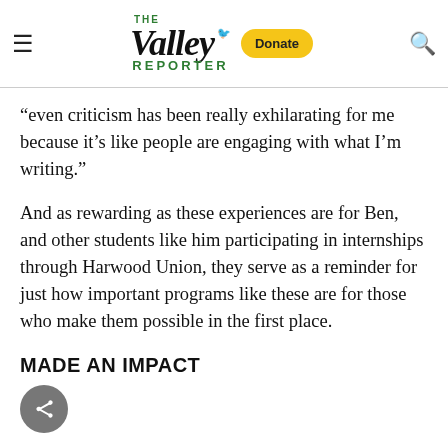The Valley Reporter — Donate
“even criticism has been really exhilarating for me because it’s like people are engaging with what I’m writing.”
And as rewarding as these experiences are for Ben, and other students like him participating in internships through Harwood Union, they serve as a reminder for just how important programs like these are for those who make them possible in the first place.
MADE AN IMPACT